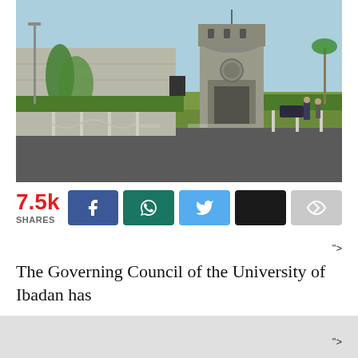[Figure (photo): University of Ibadan main gate with a distinctive tower building, palm trees and security barriers visible. Light blue sky background.]
7.5k SHARES
">
The Governing Council of the University of Ibadan has
">